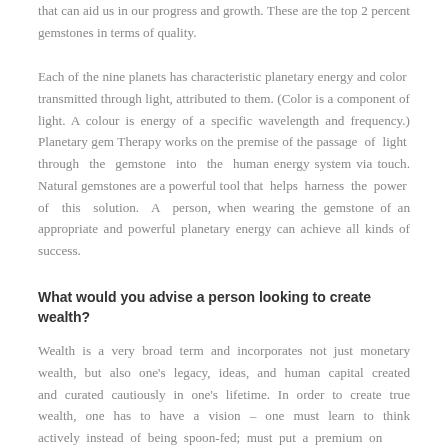that can aid us in our progress and growth. These are the top 2 percent gemstones in terms of quality.
Each of the nine planets has characteristic planetary energy and color transmitted through light, attributed to them. (Color is a component of light. A colour is energy of a specific wavelength and frequency.) Planetary gem Therapy works on the premise of the passage of light through the gemstone into the human energy system via touch. Natural gemstones are a powerful tool that helps harness the power of this solution. A person, when wearing the gemstone of an appropriate and powerful planetary energy can achieve all kinds of success.
What would you advise a person looking to create wealth?
Wealth is a very broad term and incorporates not just monetary wealth, but also one's legacy, ideas, and human capital created and curated cautiously in one's lifetime. In order to create true wealth, one has to have a vision – one must learn to think actively instead of being spoon-fed; must put a premium on